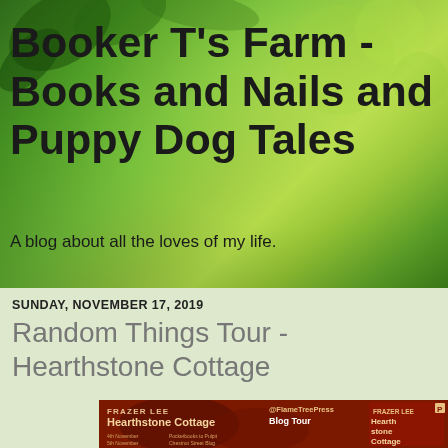[Figure (photo): Green bokeh nature background with leaves, forming the blog header background]
Booker T's Farm - Books and Nails and Puppy Dog Tales
A blog about all the loves of my life.
SUNDAY, NOVEMBER 17, 2019
Random Things Tour - Hearthstone Cottage
[Figure (photo): Blog tour promotional image for Hearthstone Cottage by Frazer Lee, published by Flame Tree Press, showing book cover and blog tour schedule]